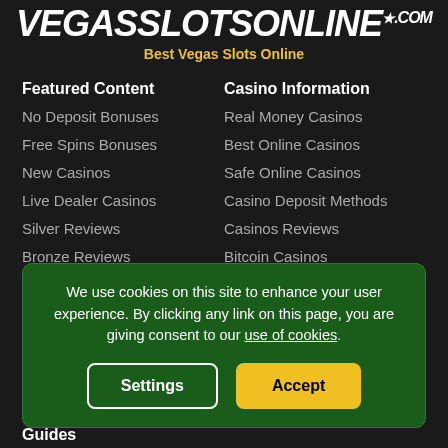[Figure (logo): VegasSlotsOnline.com logo with italic bold white text and star, plus yellow tagline 'Best Vegas Slots Online']
Featured Content
No Deposit Bonuses
Free Spins Bonuses
New Casinos
Live Dealer Casinos
Silver Reviews
Bronze Reviews
Casino Information
Real Money Casinos
Best Online Casinos
Safe Online Casinos
Casino Deposit Methods
Casinos Reviews
Bitcoin Casinos
Slot Information
Best Online Slots
More Games
Online Keno
We use cookies on this site to enhance your user experience. By clicking any link on this page, you are giving consent to our use of cookies.
Guides